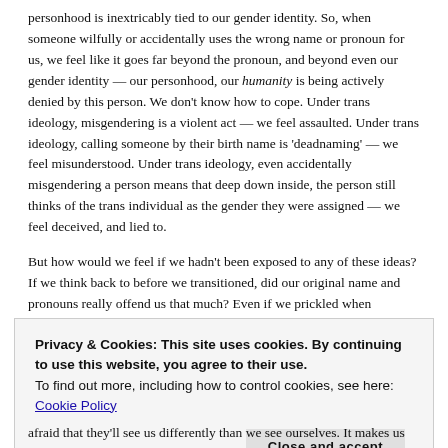personhood is inextricably tied to our gender identity. So, when someone wilfully or accidentally uses the wrong name or pronoun for us, we feel like it goes far beyond the pronoun, and beyond even our gender identity — our personhood, our humanity is being actively denied by this person. We don't know how to cope. Under trans ideology, misgendering is a violent act — we feel assaulted. Under trans ideology, calling someone by their birth name is 'deadnaming' — we feel misunderstood. Under trans ideology, even accidentally misgendering a person means that deep down inside, the person still thinks of the trans individual as the gender they were assigned — we feel deceived, and lied to.
But how would we feel if we hadn't been exposed to any of these ideas? If we think back to before we transitioned, did our original name and pronouns really offend us that much? Even if we prickled when someone said 'she', or never felt that our birth name fit us properly, did we feel such pain and outrage back then? Why did things change? Why, after going through the process of accepting ourselves and finding people who can
Privacy & Cookies: This site uses cookies. By continuing to use this website, you agree to their use.
To find out more, including how to control cookies, see here: Cookie Policy
afraid that they'll see us differently than we see ourselves. It makes us